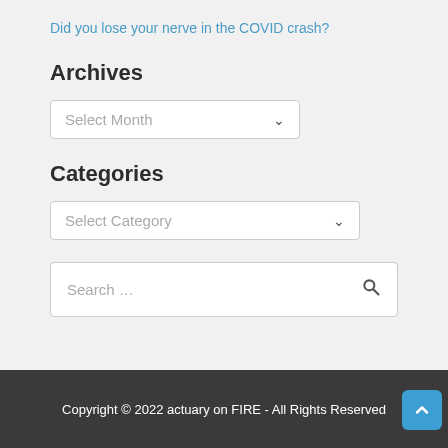Did you lose your nerve in the COVID crash?
Archives
Select Month
Categories
Select Category
Search …
Copyright © 2022 actuary on FIRE - All Rights Reserved